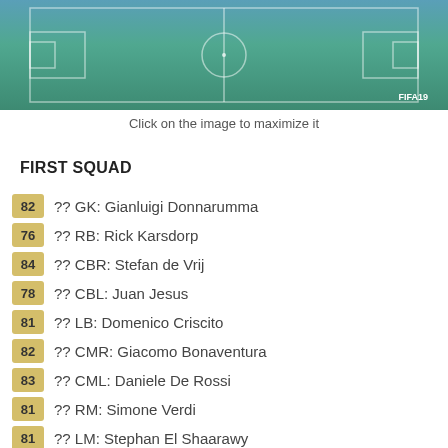[Figure (screenshot): FIFA 19 football pitch view from above, showing field markings in teal/green, with FIFA 19 logo badge in bottom right corner]
Click on the image to maximize it
FIRST SQUAD
82  ?? GK: Gianluigi Donnarumma
76  ?? RB: Rick Karsdorp
84  ?? CBR: Stefan de Vrij
78  ?? CBL: Juan Jesus
81  ?? LB: Domenico Criscito
82  ?? CMR: Giacomo Bonaventura
83  ?? CML: Daniele De Rossi
81  ?? RM: Simone Verdi
81  ?? LM: Stephan El Shaarawy